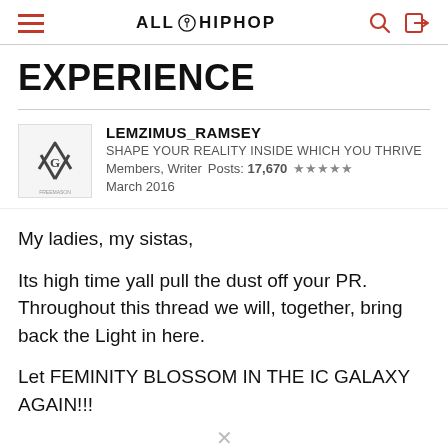ALLHIPHOP
EXPERIENCE
LEMZIMUS_RAMSEY
SHAPE YOUR REALITY INSIDE WHICH YOU THRIVE
Members, Writer  Posts: 17,670  ★★★★★
March 2016
My ladies, my sistas,
Its high time yall pull the dust off your PR. Throughout this thread we will, together, bring back the Light in here.
Let FEMINITY BLOSSOM IN THE IC GALAXY AGAIN!!!